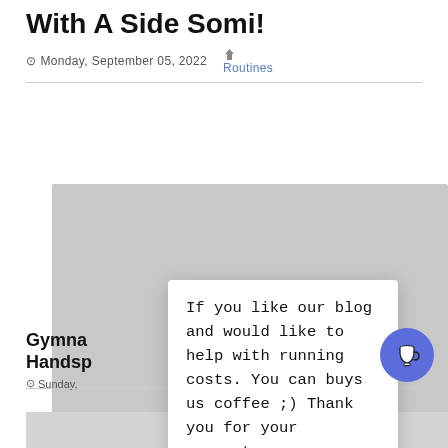With A Side Somi!
Monday, September 05, 2022   Routines
[Figure (photo): Large grey placeholder image for a blog post]
If you like our blog and would like to help with running costs. You can buys us coffee ;) Thank you for your support.
Gymna Handsp
Front
Sunday,